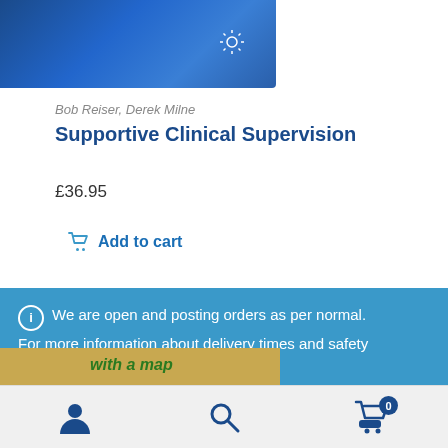[Figure (illustration): Partial book cover image with dark blue gradient background and a lightbulb icon in the upper right corner]
Bob Reiser, Derek Milne
Supportive Clinical Supervision
£36.95
Add to cart
ℹ We are open and posting orders as per normal. For more information about delivery times and safety measures, click here. Dismiss